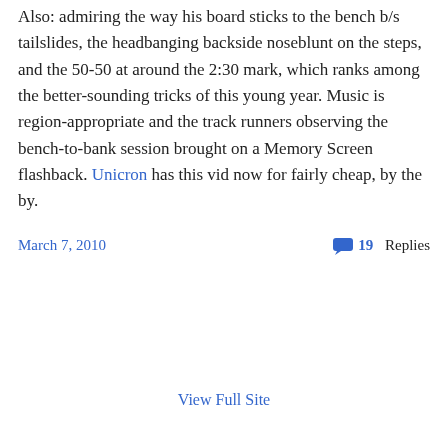Also: admiring the way his board sticks to the bench b/s tailslides, the headbanging backside noseblunt on the steps, and the 50-50 at around the 2:30 mark, which ranks among the better-sounding tricks of this young year. Music is region-appropriate and the track runners observing the bench-to-bank session brought on a Memory Screen flashback. Unicron has this vid now for fairly cheap, by the by.
March 7, 2010 | 19 Replies
View Full Site